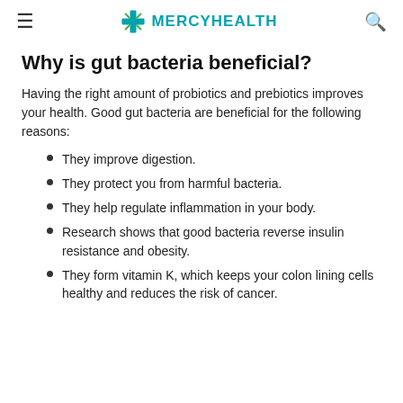MERCYHEALTH
Why is gut bacteria beneficial?
Having the right amount of probiotics and prebiotics improves your health. Good gut bacteria are beneficial for the following reasons:
They improve digestion.
They protect you from harmful bacteria.
They help regulate inflammation in your body.
Research shows that good bacteria reverse insulin resistance and obesity.
They form vitamin K, which keeps your colon lining cells healthy and reduces the risk of cancer.